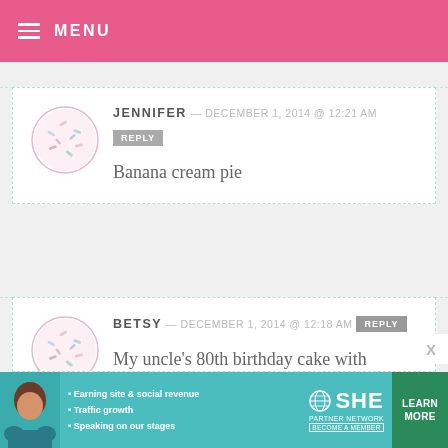MENU
JENNIFER — DECEMBER 1, 2014 @ 12:21 AM
REPLY
Banana cream pie
BETSY — DECEMBER 1, 2014 @ 12:18 AM
REPLY
My uncle's 80th birthday cake with homemade vanilla buttercreme frosting.
[Figure (infographic): SHE Partner Network advertisement banner with learn more button]